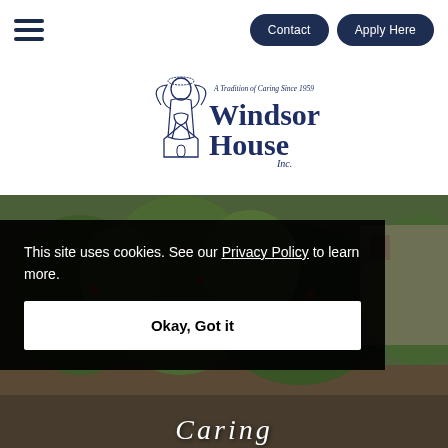≡  Contact  Apply Here
[Figure (logo): Windsor House Inc. logo — angel figure with praying hands, text 'A Tradition of Caring Since 1959' and 'Windsor House Inc.' in dark navy blue]
[Figure (photo): Outdoor garden/landscape photo with greenery, flowers, and a building in the background, used as hero image]
This site uses cookies. See our Privacy Policy to learn more.
Okay, Got it
Caring